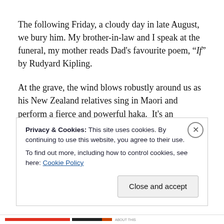The following Friday, a cloudy day in late August, we bury him. My brother-in-law and I speak at the funeral, my mother reads Dad's favourite poem, “If” by Rudyard Kipling.
At the grave, the wind blows robustly around us as his New Zealand relatives sing in Maori and perform a fierce and powerful haka.  It’s an impressive finale.
Privacy & Cookies: This site uses cookies. By continuing to use this website, you agree to their use.
To find out more, including how to control cookies, see here: Cookie Policy
Close and accept